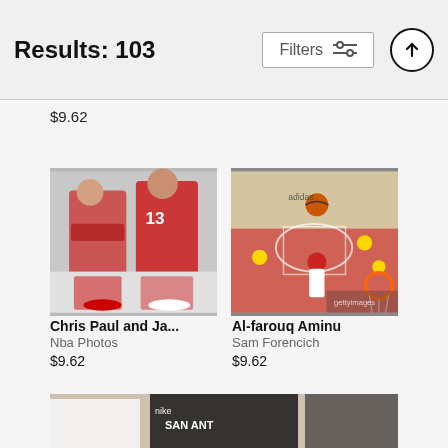Results: 103  Filters
$9.62
[Figure (photo): Chris Paul and James Harden in Houston Rockets red uniforms posing together]
Chris Paul and Ja...
Nba Photos
$9.62
[Figure (photo): Al-farouq Aminu dunking during an NBA game, aerial view of basketball court]
Al-farouq Aminu
Sam Forencich
$9.62
[Figure (photo): Partially visible NBA player in San Antonio Spurs jersey at bottom of page]